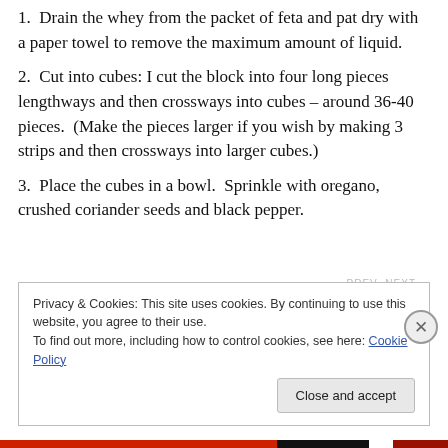1.  Drain the whey from the packet of feta and pat dry with a paper towel to remove the maximum amount of liquid.
2.  Cut into cubes: I cut the block into four long pieces lengthways and then crossways into cubes – around 36-40 pieces.  (Make the pieces larger if you wish by making 3 strips and then crossways into larger cubes.)
3.  Place the cubes in a bowl.  Sprinkle with oregano, crushed coriander seeds and black pepper.
Privacy & Cookies: This site uses cookies. By continuing to use this website, you agree to their use.
To find out more, including how to control cookies, see here: Cookie Policy
Close and accept